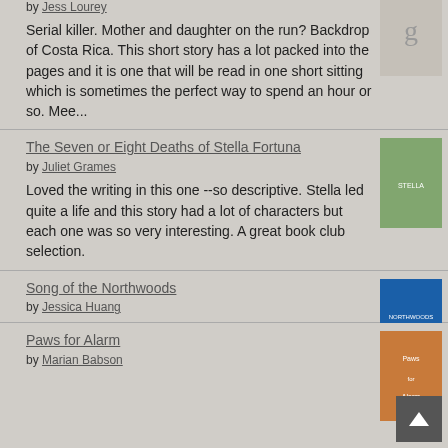by Jess Lourey
Serial killer. Mother and daughter on the run? Backdrop of Costa Rica. This short story has a lot packed into the pages and it is one that will be read in one short sitting which is sometimes the perfect way to spend an hour or so. Mee...
The Seven or Eight Deaths of Stella Fortuna
by Juliet Grames
Loved the writing in this one --so descriptive. Stella led quite a life and this story had a lot of characters but each one was so very interesting. A great book club selection.
Song of the Northwoods
by Jessica Huang
Paws for Alarm
by Marian Babson